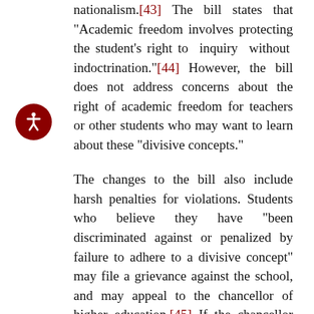nationalism.[43] The bill states that "Academic freedom involves protecting the student's right to inquiry without indoctrination."[44] However, the bill does not address concerns about the right of academic freedom for teachers or other students who may want to learn about these "divisive concepts."
The changes to the bill also include harsh penalties for violations. Students who believe they have "been discriminated against or penalized by failure to adhere to a divisive concept" may file a grievance against the school, and may appeal to the chancellor of higher education.[45] If the chancellor rules in favor of the student, the school will lose some of its funding.[46] Parents whose children are "subjected to indoctrination of divisive concepts" may also bring a civil action against